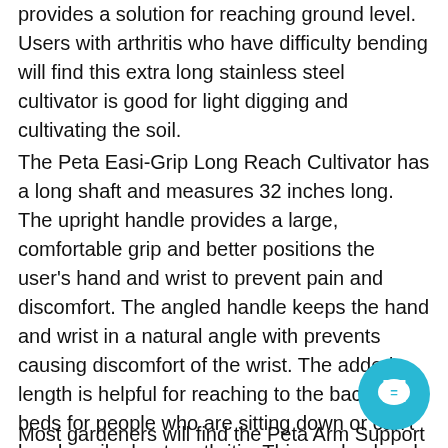provides a solution for reaching ground level. Users with arthritis who have difficulty bending will find this extra long stainless steel cultivator is good for light digging and cultivating the soil.
The Peta Easi-Grip Long Reach Cultivator has a long shaft and measures 32 inches long. The upright handle provides a large, comfortable grip and better positions the user's hand and wrist to prevent pain and discomfort. The angled handle keeps the hand and wrist in a natural angle with prevents causing discomfort of the wrist. The added length is helpful for reaching to the back of beds for people who are sitting down or can't bend easily due to arthritis. This garden hand tool with long handle is useful for light digging and cultivating the soil, and particularly recommended for users who garden sitting down or can't bend easily. Peta Easi-Grip Long Reach Cultivator measures 32 inches long and weighs oz.
Most gardeners will find the Peta Arm Support Cuff
[Figure (illustration): Cyan/teal chat bubble icon with a circular arrow symbol, positioned in the bottom-right corner of the page.]